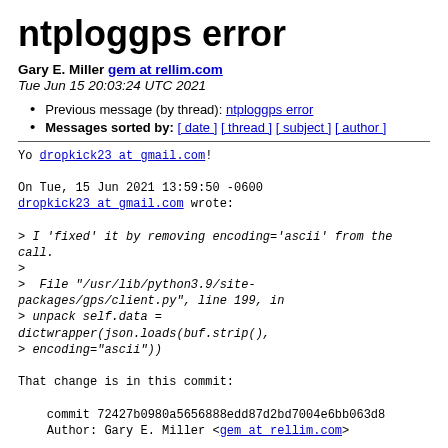ntploggps error
Gary E. Miller gem at rellim.com
Tue Jun 15 20:03:24 UTC 2021
Previous message (by thread): ntploggps error
Messages sorted by: [ date ] [ thread ] [ subject ] [ author ]
Yo dropkick23 at gmail.com!

On Tue, 15 Jun 2021 13:59:50 -0600
dropkick23 at gmail.com wrote:

> I 'fixed' it by removing encoding='ascii' from the call.
>
>  File "/usr/lib/python3.9/site-packages/gps/client.py", line 199, in
> unpack self.data = dictwrapper(json.loads(buf.strip(),
> encoding="ascii"))

That change is in this commit:

    commit 72427b0980a5656888edd87d2bd7004e6bb063d8
    Author: Gary E. Miller <gem at rellim.com>